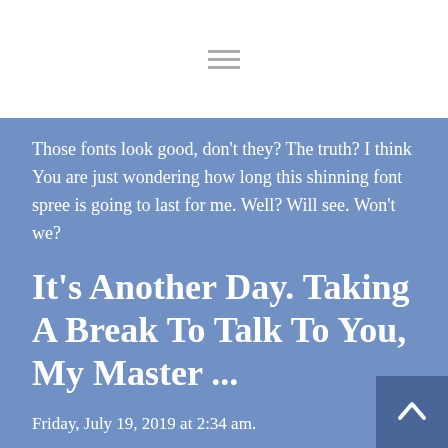Those fonts look good, don't they? The truth? I think You are just wondering how long this shinning font spree is going to last for me. Well? Will see. Won't we?
It's Another Day. Taking A Break To Talk To You, My Master ...
Friday, July 19, 2019 at 2:34 am.
Master? I think I'm beginning to understand what You are teaching me about myself—about my life of pain. What causes me this excruciating pain? My inability to